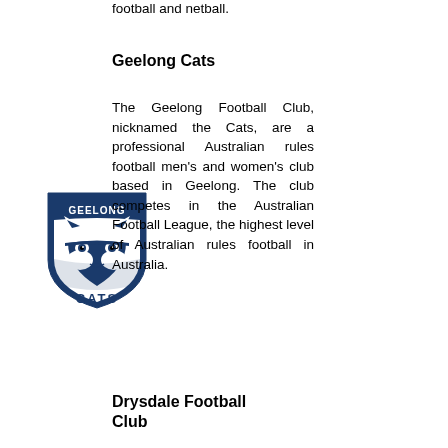football and netball.
Geelong Cats
[Figure (logo): Geelong Cats AFL club logo - shield shaped with blue and white cat face and GEELONG text at top, CATS text at bottom]
The Geelong Football Club, nicknamed the Cats, are a professional Australian rules football men's and women's club based in Geelong. The club competes in the Australian Football League, the highest level of Australian rules football in Australia.
Drysdale Football Club